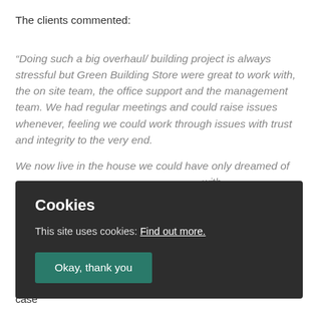The clients commented:
“Doing such a big overhaul/ building project is always stressful but Green Building Store were great to work with, the on site team, the office support and the management team. We had regular meetings and could raise issues whenever, feeling we could work through issues with trust and integrity to the very end.
We now live in the house we could have only dreamed of, right there because of the Yorkshire Moors, with a... comfort of a u... ank you all at G...
[Figure (screenshot): Cookie consent overlay popup with dark background. Title 'Cookies', body text 'This site uses cookies: Find out more.' with underlined link, and a teal 'Okay, thank you' button.]
on with
steel ducting were chosen for the project. As is often the case